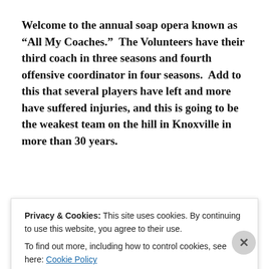Welcome to the annual soap opera known as “All My Coaches.”  The Volunteers have their third coach in three seasons and fourth offensive coordinator in four seasons.  Add to this that several players have left and more have suffered injuries, and this is going to be the weakest team on the hill in Knoxville in more than 30 years.
The offense starts with a new quarterback that threw
Privacy & Cookies: This site uses cookies. By continuing to use this website, you agree to their use.
To find out more, including how to control cookies, see here: Cookie Policy
Close and accept